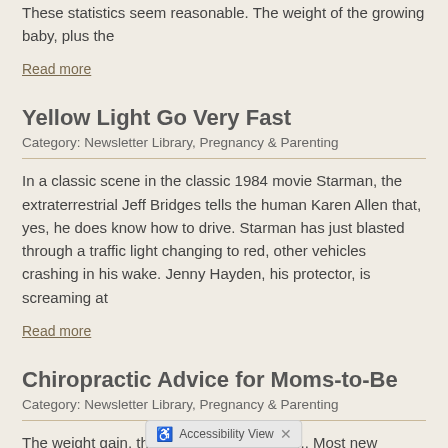These statistics seem reasonable. The weight of the growing baby, plus the
Read more
Yellow Light Go Very Fast
Category: Newsletter Library, Pregnancy & Parenting
In a classic scene in the classic 1984 movie Starman, the extraterrestrial Jeff Bridges tells the human Karen Allen that, yes, he does know how to drive. Starman has just blasted through a traffic light changing to red, other vehicles crashing in his wake. Jenny Hayden, his protector, is screaming at
Read more
Chiropractic Advice for Moms-to-Be
Category: Newsletter Library, Pregnancy & Parenting
The weight gain, the bloating, the nausea... Most new mothers will tell you that the aches and pains of pregnancy are a small price to pay for the beauti… rewarded